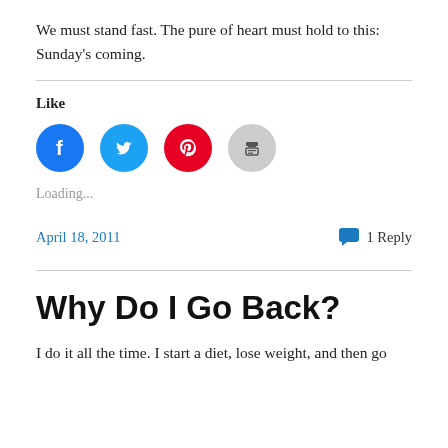We must stand fast. The pure of heart must hold to this: Sunday's coming.
Like
[Figure (infographic): Four social sharing icon buttons: Facebook (blue circle), Twitter (light blue circle), Pinterest (red circle), Print (grey circle)]
Loading...
April 18, 2011   💬 1 Reply
Why Do I Go Back?
I do it all the time. I start a diet, lose weight, and then go